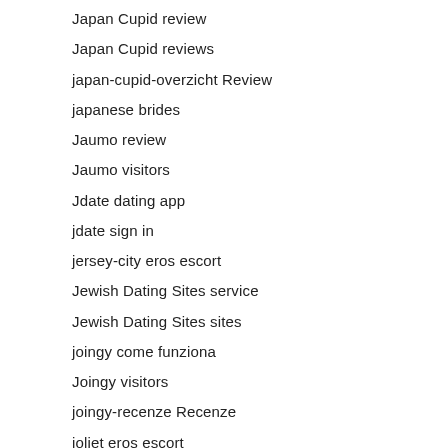Japan Cupid review
Japan Cupid reviews
japan-cupid-overzicht Review
japanese brides
Jaumo review
Jaumo visitors
Jdate dating app
jdate sign in
jersey-city eros escort
Jewish Dating Sites service
Jewish Dating Sites sites
joingy come funziona
Joingy visitors
joingy-recenze Recenze
joliet eros escort
joliet escort directory
Jpeoplemeet asian rencontre
jpeoplemeet como funciona